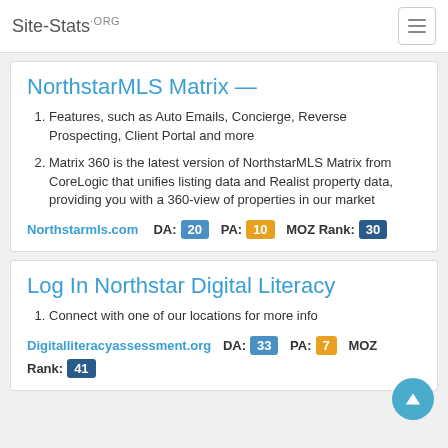Site-Stats.ORG
NorthstarMLS Matrix —
Features, such as Auto Emails, Concierge, Reverse Prospecting, Client Portal and more
Matrix 360 is the latest version of NorthstarMLS Matrix from CoreLogic that unifies listing data and Realist property data, providing you with a 360-view of properties in our market
Northstarmls.com   DA: 20   PA: 10   MOZ Rank: 30
Log In Northstar Digital Literacy
Connect with one of our locations for more info
Digitalliteracyassessment.org   DA: 33   PA: 7   MOZ Rank: 41